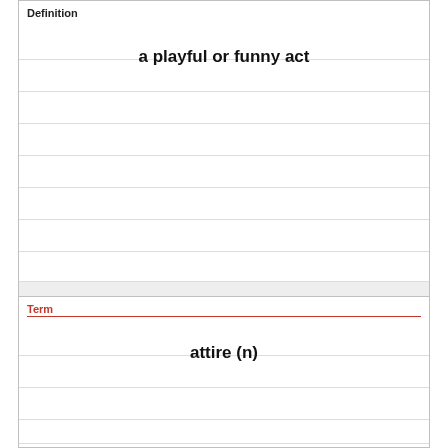Definition
a playful or funny act
Term
attire (n)